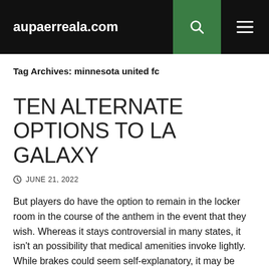aupaerreala.com
Tag Archives: minnesota united fc
TEN ALTERNATE OPTIONS TO LA GALAXY
JUNE 21, 2022
But players do have the option to remain in the locker room in the course of the anthem in the event that they wish. Whereas it stays controversial in many states, it isn't an possibility that medical amenities invoke lightly. While brakes could seem self-explanatory, it may be straightforward to panic whereas out on the path, which can lead to injury. Larger brakes are used to